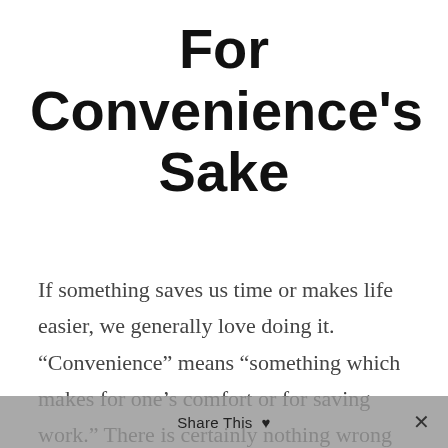For Convenience's Sake
If something saves us time or makes life easier, we generally love doing it. “Convenience” means “something which makes for one’s comfort or for saving work.” There is certainly nothing wrong with modern conveniences. It is natural for us to want to make tasks easier. However,
Share This ♥